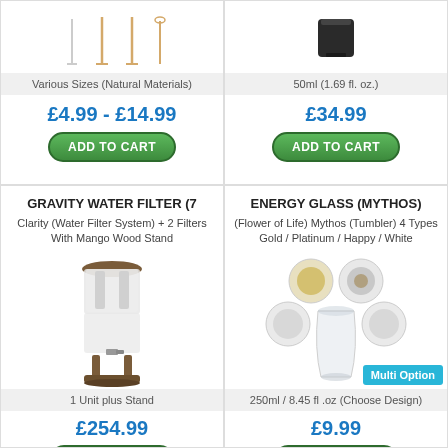[Figure (illustration): Product image area top left - natural material items (partial, cropped at top)]
Various Sizes (Natural Materials)
£4.99 - £14.99
ADD TO CART
[Figure (photo): Product image top right - dark container 50ml]
50ml (1.69 fl. oz.)
£34.99
ADD TO CART
GRAVITY WATER FILTER (7
Clarity (Water Filter System) + 2 Filters With Mango Wood Stand
[Figure (photo): Gravity water filter with mango wood stand - glass cylindrical water filtration unit on wooden stand]
1 Unit plus Stand
£254.99
ADD TO CART
ENERGY GLASS (MYTHOS)
(Flower of Life) Mythos (Tumbler) 4 Types Gold / Platinum / Happy / White
[Figure (photo): Energy glass Mythos - a tumbler glass surrounded by 4 circular coaster/disc options with different patterns, Multi Option badge]
250ml / 8.45 fl .oz (Choose Design)
£9.99
ADD TO CART